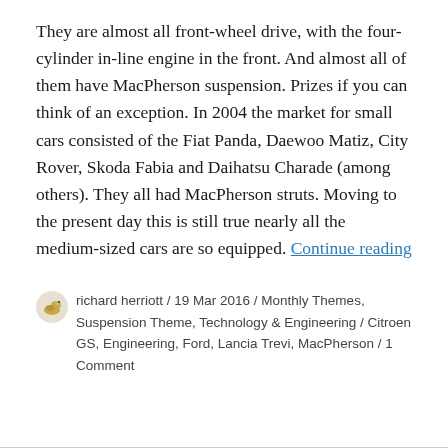They are almost all front-wheel drive, with the four-cylinder in-line engine in the front. And almost all of them have MacPherson suspension. Prizes if you can think of an exception. In 2004 the market for small cars consisted of the Fiat Panda, Daewoo Matiz, City Rover, Skoda Fabia and Daihatsu Charade (among others). They all had MacPherson struts. Moving to the present day this is still true nearly all the medium-sized cars are so equipped. Continue reading
richard herriott / 19 Mar 2016 / Monthly Themes, Suspension Theme, Technology & Engineering / Citroen GS, Engineering, Ford, Lancia Trevi, MacPherson / 1 Comment